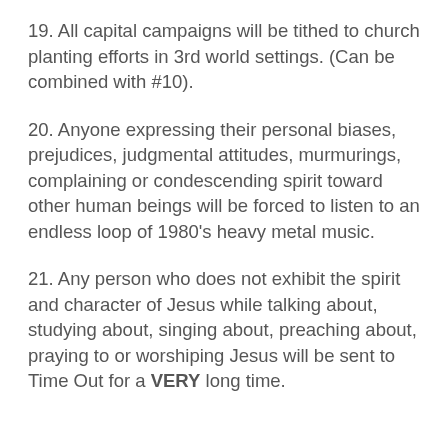19. All capital campaigns will be tithed to church planting efforts in 3rd world settings. (Can be combined with #10).
20. Anyone expressing their personal biases, prejudices, judgmental attitudes, murmurings, complaining or condescending spirit toward other human beings will be forced to listen to an endless loop of 1980's heavy metal music.
21. Any person who does not exhibit the spirit and character of Jesus while talking about, studying about, singing about, preaching about, praying to or worshiping Jesus will be sent to Time Out for a VERY long time.